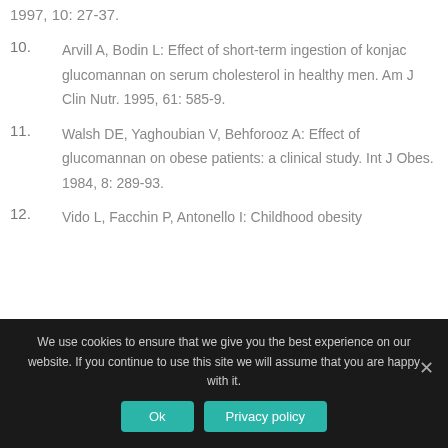1997, 10: 27-37.
10. Arvill A, Bodin L: Effect of short-term ingestion of konjac glucomannan on serum cholesterol in healthy men. Am J Clin Nutr. 1995, 61: 585-9.
11. Walsh DE, Yaghoubian V, Behforooz A: Effect of glucomannan on obese patients: a clinical study. Int J Obes. 1984, 8: 289-93.
12. Vido L, Facchin P, Antonello I: Childhood obesity
We use cookies to ensure that we give you the best experience on our website. If you continue to use this site we will assume that you are happy with it.